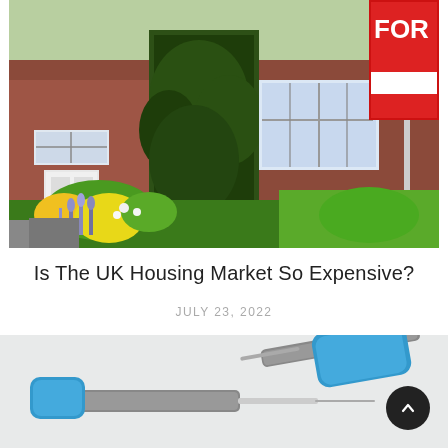[Figure (photo): A British brick house with ivy-covered wall, white window frames, colorful garden flowers in the foreground, a white 'FOR SALE' real estate sign visible on the right side of the image.]
Is The UK Housing Market So Expensive?
JULY 23, 2022
[Figure (photo): Close-up of blue medical syringes/needles on a light background, partially visible at the bottom of the page.]